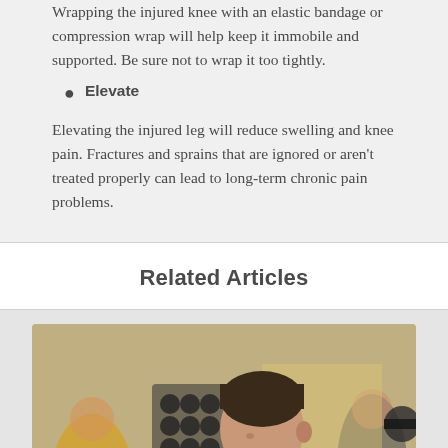Wrapping the injured knee with an elastic bandage or compression wrap will help keep it immobile and supported. Be sure not to wrap it too tightly.
Elevate
Elevating the injured leg will reduce swelling and knee pain. Fractures and sprains that are ignored or aren't treated properly can lead to long-term chronic pain problems.
Related Articles
[Figure (photo): A man in a gym lifting weights with a barbell, surrounded by other people exercising in the background.]